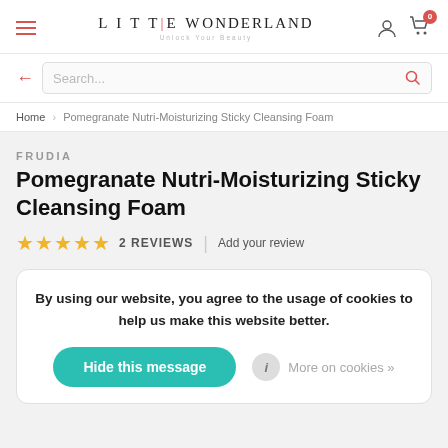Little Wonderland — Unlock Your Beauty
Search...
Home › Pomegranate Nutri-Moisturizing Sticky Cleansing Foam
FRUDIA
Pomegranate Nutri-Moisturizing Sticky Cleansing Foam
★★★★★ 2 REVIEWS | Add your review
By using our website, you agree to the usage of cookies to help us make this website better. Hide this message  More on cookies »